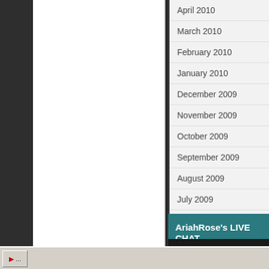[Figure (screenshot): Left panel showing a dark background with a white content area (appears to be a blog or website main content column)]
April 2010
March 2010
February 2010
January 2010
December 2009
November 2009
October 2009
September 2009
August 2009
July 2009
June 2009
May 2009
April 2009
March 2009
AriahRose's LIVE CHAT